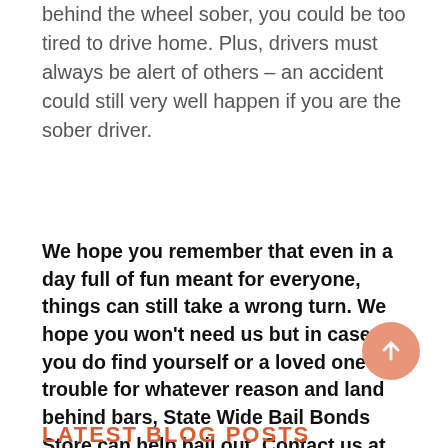behind the wheel sober, you could be too tired to drive home. Plus, drivers must always be alert of others – an accident could still very well happen if you are the sober driver.
We hope you remember that even in a day full of fun meant for everyone, things can still take a wrong turn. We hope you won't need us but in case you do find yourself or a loved one in trouble for whatever reason and land behind bars, State Wide Bail Bonds Store can help bail out. Contact us at 877-793-2245 as soon as possible!
LATEST BLOG POSTS